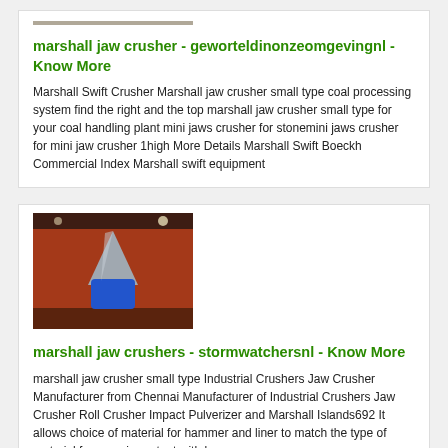[Figure (photo): Top partial image of a crushed/processed material surface, partially cut off at top]
marshall jaw crusher - geworteldinonzeomgevingnl - Know More
Marshall Swift Crusher Marshall jaw crusher small type coal processing system find the right and the top marshall jaw crusher small type for your coal handling plant mini jaws crusher for stonemini jaws crusher for mini jaw crusher 1high More Details Marshall Swift Boeckh Commercial Index Marshall swift equipment
[Figure (photo): Photo of a cone crusher or similar device with blue body on a reddish textured surface, viewed from above under artificial lighting]
marshall jaw crushers - stormwatchersnl - Know More
marshall jaw crusher small type Industrial Crushers Jaw Crusher Manufacturer from Chennai Manufacturer of Industrial Crushers Jaw Crusher Roll Crusher Impact Pulverizer and Marshall Islands692 It allows choice of material for hammer and liner to match the type of material for superior output with less wear